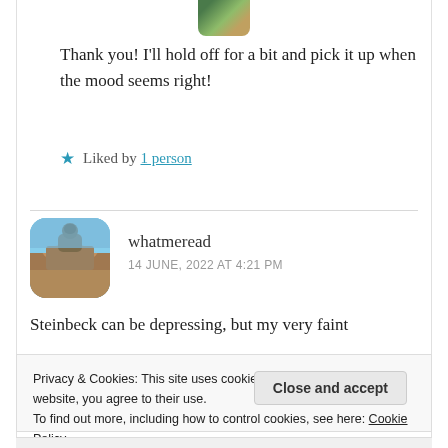[Figure (photo): Partial avatar image at top of comment, cropped circular/rounded profile picture with green tones]
Thank you! I'll hold off for a bit and pick it up when the mood seems right!
★ Liked by 1 person
[Figure (photo): Rounded square avatar showing a castle or chateau on a rocky hill with blue sky background]
whatmeread
14 JUNE, 2022 AT 4:21 PM
Steinbeck can be depressing, but my very faint
Privacy & Cookies: This site uses cookies. By continuing to use this website, you agree to their use.
To find out more, including how to control cookies, see here: Cookie Policy
Close and accept